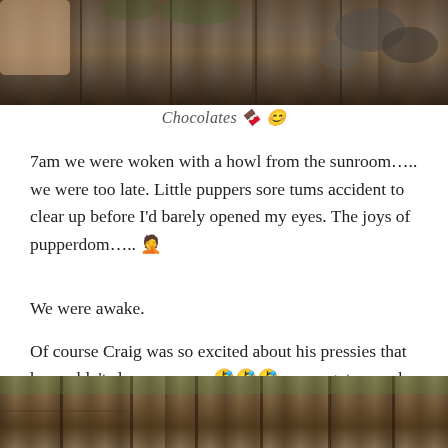[Figure (photo): Top portion of a photo showing wooden fence posts and rocks in a garden setting]
Chocolates 🍫 😊
7am we were woken with a howl from the sunroom….. we were too late. Little puppers sore tums accident to clear up before I'd barely opened my eyes. The joys of pupperdom….. 🤦
We were awake.
Of course Craig was so excited about his pressies that he couldn't sleep anyway. 🤣🤣🤣 so we got up and sat outside in the shade for coffee and pressies!
[Figure (photo): Bottom portion showing wooden fence panels in a garden]